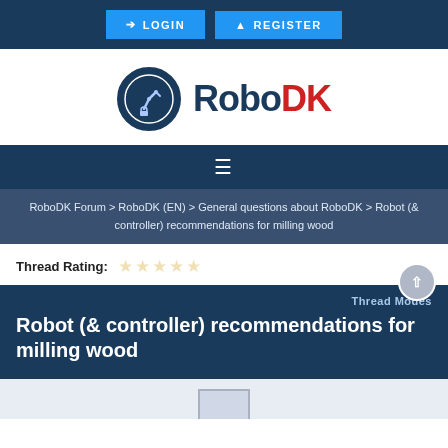LOGIN  REGISTER
[Figure (logo): RoboDK logo: dark navy circle with robot arm icon, followed by bold text 'RoboDK' where 'Robo' is dark navy and 'DK' is red]
☰ (hamburger menu)
RoboDK Forum > RoboDK (EN) > General questions about RoboDK > Robot (& controller) recommendations for milling wood
Thread Rating: ★★★★★
Robot (& controller) recommendations for milling wood
Thread Modes